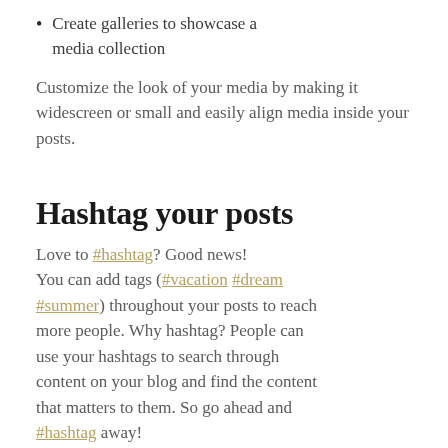Create galleries to showcase a media collection
Customize the look of your media by making it widescreen or small and easily align media inside your posts.
Hashtag your posts
Love to #hashtag? Good news! You can add tags (#vacation #dream #summer) throughout your posts to reach more people. Why hashtag? People can use your hashtags to search through content on your blog and find the content that matters to them. So go ahead and #hashtag away!